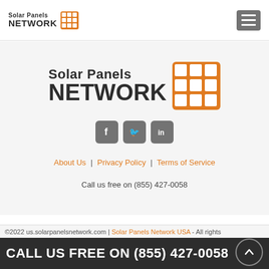[Figure (logo): Solar Panels Network logo - small version in header with orange grid icon]
[Figure (logo): Solar Panels Network logo - large centered version with orange 3x3 grid icon]
[Figure (illustration): Social media icons: Facebook, Twitter, LinkedIn in grey rounded square buttons]
About Us | Privacy Policy | Terms of Service
Call us free on (855) 427-0058
©2022 us.solarpanelsnetwork.com | Solar Panels Network USA - All rights reserved
CALL US FREE ON (855) 427-0058